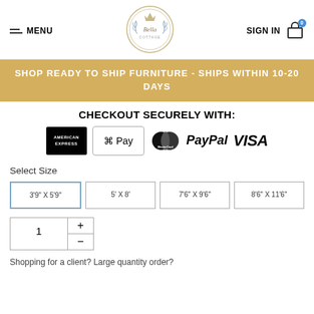MENU | Bella (logo) | SIGN IN
SHOP READY TO SHIP FURNITURE - SHIPS WITHIN 10-20 DAYS
CHECKOUT SECURELY WITH:
[Figure (logo): Payment method logos: American Express, Apple Pay, MasterCard, PayPal, VISA]
Select Size
3'9" X 5'9" | 5' X 8' | 7'6" X 9'6" | 8'6" X 11'6"
1
Shopping for a client? Large quantity order?